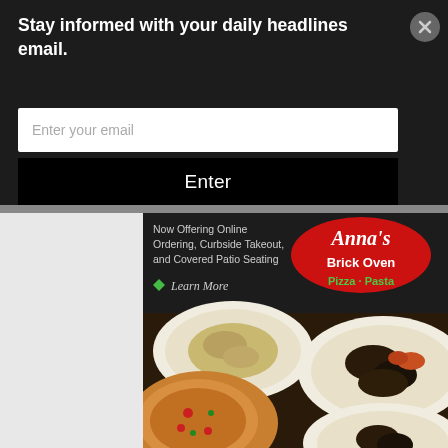Stay informed with your daily headlines email.
Enter your email
Enter
[Figure (screenshot): Anna's Brick Oven Pizza Pasta restaurant advertisement showing food dishes (pasta, seafood, pizza) with text: Now Offering Online Ordering, Curbside Takeout, and Covered Patio Seating. Learn More. Anna's Brick Oven Pizza Pasta.]